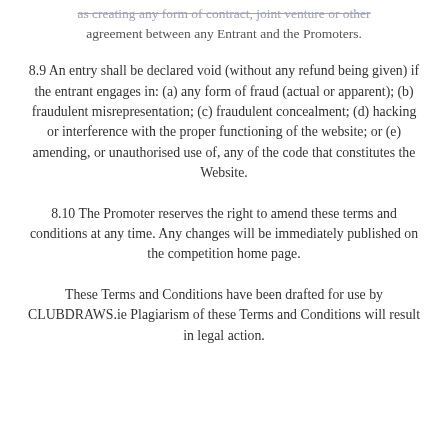as creating any form of contract, joint venture or other agreement between any Entrant and the Promoters.
8.9 An entry shall be declared void (without any refund being given) if the entrant engages in: (a) any form of fraud (actual or apparent); (b) fraudulent misrepresentation; (c) fraudulent concealment; (d) hacking or interference with the proper functioning of the website; or (e) amending, or unauthorised use of, any of the code that constitutes the Website.
8.10 The Promoter reserves the right to amend these terms and conditions at any time. Any changes will be immediately published on the competition home page.
These Terms and Conditions have been drafted for use by CLUBDRAWS.ie Plagiarism of these Terms and Conditions will result in legal action.